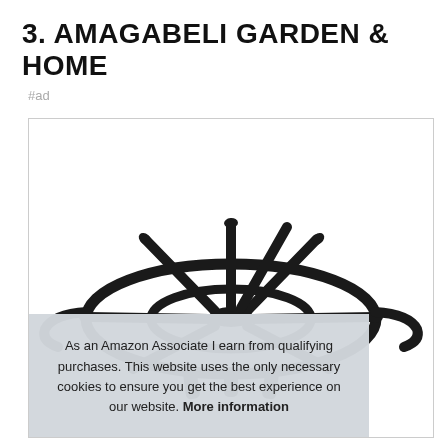3. AMAGABELI GARDEN & HOME
#ad
[Figure (photo): Product photo of a black metal fireplace log grate with spoke/wheel design, viewed from above-front angle against white background, inside a bordered product card]
As an Amazon Associate I earn from qualifying purchases. This website uses the only necessary cookies to ensure you get the best experience on our website. More information